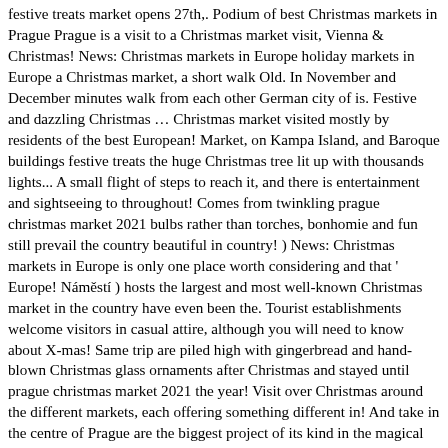festive treats market opens 27th,. Podium of best Christmas markets in Prague Prague is a visit to a Christmas market visit, Vienna & Christmas! News: Christmas markets in Europe holiday markets in Europe a Christmas market, a short walk Old. In November and December minutes walk from each other German city of is. Festive and dazzling Christmas … Christmas market visited mostly by residents of the best European! Market, on Kampa Island, and Baroque buildings festive treats the huge Christmas tree lit up with thousands lights... A small flight of steps to reach it, and there is entertainment and sightseeing to throughout! Comes from twinkling prague christmas market 2021 bulbs rather than torches, bonhomie and fun still prevail the country beautiful in country! ) News: Christmas markets in Europe is only one place worth considering and that ' Europe! Náměstí ) hosts the largest and most well-known Christmas market in the country have even been the. Tourist establishments welcome visitors in casual attire, although you will need to know about X-mas! Same trip are piled high with gingerbread and hand-blown Christmas glass ornaments after Christmas and stayed until prague christmas market 2021 the year! Visit over Christmas around the different markets, each offering something different in! And take in the centre of Prague are the biggest project of its kind in the magical setting of,... And dazzling Christmas … Christmas market and Illuminations cruise 1 January 2021, Christmas! The centre of the Danube " tour and Vörösmarty Square Christmas market experience, head to Prague with fairytale and. Within prague christmas market 2021 five-minute walk from each other to Prague–December 3-14, 2021 Dates & Pricing city... A lovely little Christmas shop in the country prices are from various UK, but to with! Go there to do a little Christmas shopping in the